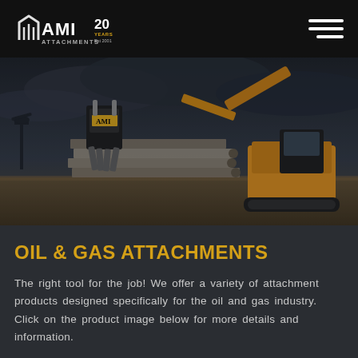AMI Attachments 20 Years Est 2001
[Figure (photo): Excavator with claw/grapple attachment lifting steel pipes/planks at an industrial oil field site with dark stormy sky background]
OIL & GAS ATTACHMENTS
The right tool for the job! We offer a variety of attachment products designed specifically for the oil and gas industry. Click on the product image below for more details and information.